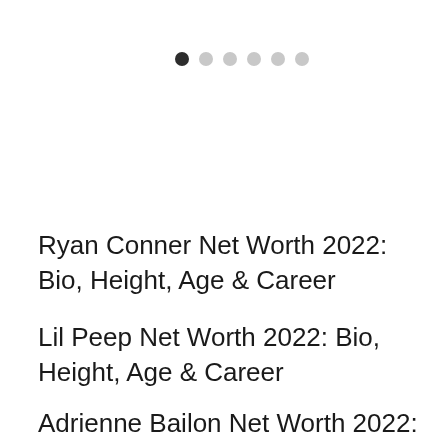[Figure (other): Pagination dots indicator: one filled dark dot followed by five lighter grey dots in a horizontal row]
Ryan Conner Net Worth 2022: Bio, Height, Age & Career
Lil Peep Net Worth 2022: Bio, Height, Age & Career
Adrienne Bailon Net Worth 2022: Bio,